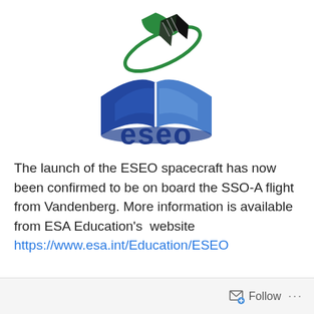[Figure (logo): ESEO logo: an open blue book with a green satellite/leaf icon orbiting above, and the word 'eseo' in bold dark blue below]
The launch of the ESEO spacecraft has now been confirmed to be on board the SSO-A flight from Vandenberg. More information is available from ESA Education's website https://www.esa.int/Education/ESEO
Follow ...